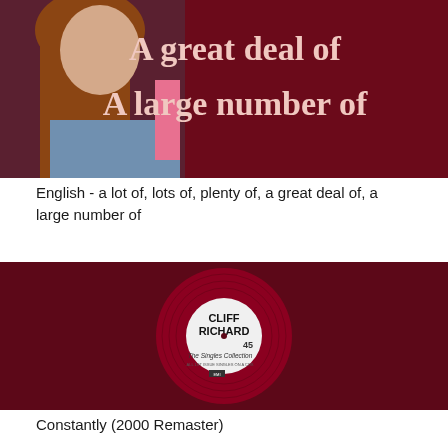[Figure (photo): Photo showing a person with long hair on left side, and dark maroon/red background with light pink serif text reading 'A great deal of' and 'A large number of']
English - a lot of, lots of, plenty of, a great deal of, a large number of
[Figure (photo): Cliff Richard vinyl record album cover - The Singles Collection, shown as a red/maroon vinyl record with white center label reading 'CLIFF RICHARD' and 'The Singles Collection' on a dark maroon background]
Constantly (2000 Remaster)